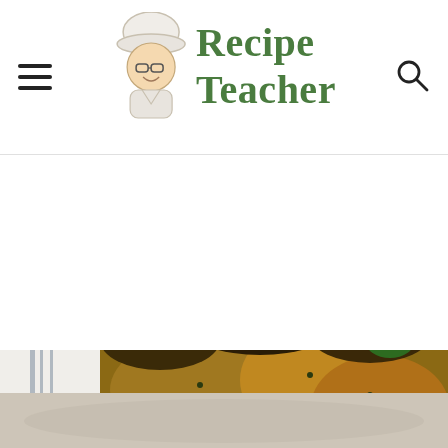Recipe Teacher
[Figure (photo): Food photo showing roasted or braised chicken pieces with broccoli and parsley garnish on a white plate, with a blurred lower portion of dish]
[Figure (photo): Lower portion of a food dish, blurred/partially visible]